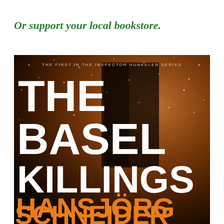Or support your local bookstore.
[Figure (illustration): Book cover of 'The Basel Killings' by Hansjörg Schneider. Dark brown/amber background with falling snow. Large white bold text reads 'THE BASEL KILLINGS' and author name in large orange bold text reads 'HANSJÖRG SCHNEIDER'. Top reads 'THE FIRST IN THE INSPECTOR HUNKELER SERIES' in small caps.]